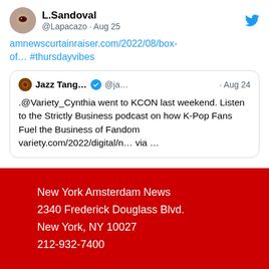[Figure (screenshot): Twitter/X post by L.Sandoval (@Lapacazo) from Aug 25 with a link to amnewscurtainraiser.com/2022/08/box-of… #thursdayvibes, containing a quoted tweet by Jazz Tang... (@ja...) from Aug 24 about @Variety_Cynthia going to KCON and the Strictly Business podcast on K-Pop Fans Fuel the Business of Fandom]
New York Amsterdam News
2340 Frederick Douglass Blvd.
New York, NY 10027
212-932-7400